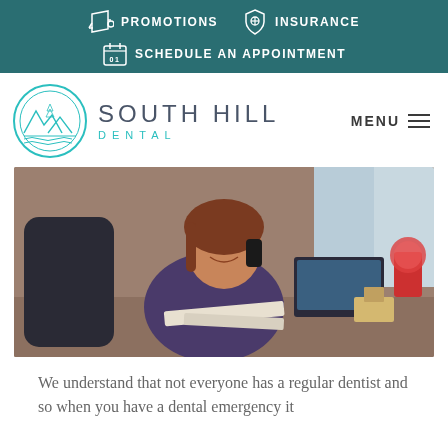PROMOTIONS   INSURANCE   SCHEDULE AN APPOINTMENT
[Figure (logo): South Hill Dental logo with circular mountain/landscape emblem, 'SOUTH HILL' in large light grey letters, 'DENTAL' in teal spaced letters. Menu button top right.]
[Figure (photo): Woman with red-brown hair smiling, talking on phone, sitting at a busy office desk with a laptop, gumball machine, and various items in background.]
We understand that not everyone has a regular dentist and so when you have a dental emergency it